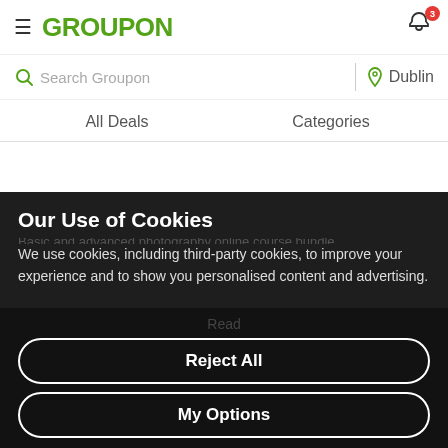GROUPON
Search Groupon | Dublin
All Deals | Categories
Our Use of Cookies
We use cookies, including third-party cookies, to improve your experience and to show you personalised content and advertising.
To find out more, read our Privacy Statement and Cookie Policy.
Highlights
Accept All
Reject All
My Options